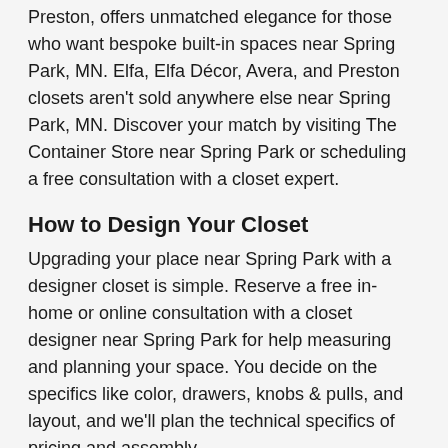Preston, offers unmatched elegance for those who want bespoke built-in spaces near Spring Park, MN. Elfa, Elfa Décor, Avera, and Preston closets aren't sold anywhere else near Spring Park, MN. Discover your match by visiting The Container Store near Spring Park or scheduling a free consultation with a closet expert.
How to Design Your Closet
Upgrading your place near Spring Park with a designer closet is simple. Reserve a free in-home or online consultation with a closet designer near Spring Park for help measuring and planning your space. You decide on the specifics like color, drawers, knobs & pulls, and layout, and we'll plan the technical specifics of pricing and assembly.
If you prefer to see our closet systems for yourself, you can also start envisioning the closet of your dreams at The Container Store near you near Spring Park, MN. Once there, you can chat with one of our home organization experts to plan your new closet design. Once we create your perfect design, we will schedule measurement and installation dates,